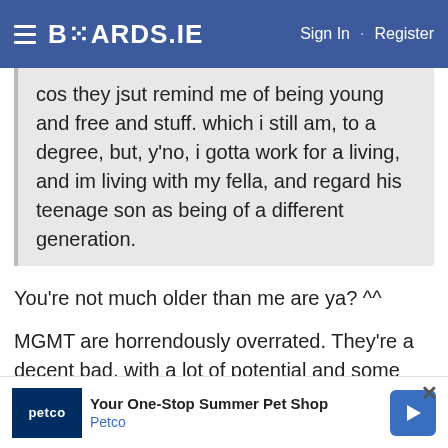BOARDS.IE  Sign In · Register
cos they jsut remind me of being young and free and stuff. which i still am, to a degree, but, y'no, i gotta work for a living, and im living with my fella, and regard his teenage son as being of a different generation.
You're not much older than me are ya? ^^
MGMT are horrendously overrated. They're a decent bad, with a lot of potential and some quality choons, but a whole rake of fake scenester types seem to have co-opted them.
One of those bands that like the Ting Tings were kinda
[Figure (other): Petco advertisement banner: 'Your One-Stop Summer Pet Shop' with Petco logo and blue arrow icon]